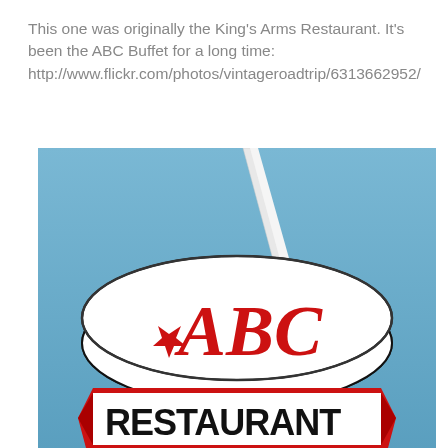This one was originally the King's Arms Restaurant.  It's been the ABC Buffet for a long time: http://www.flickr.com/photos/vintageroadtrip/6313662952/
[Figure (photo): Close-up photo of the ABC Restaurant sign showing a large white circular sign with red old-English style 'ABC' lettering and a red star, with a white sword/spire pointing upward, and a banner below reading 'RESTAURANT' in large black letters on a white and red background, set against a blue sky.]